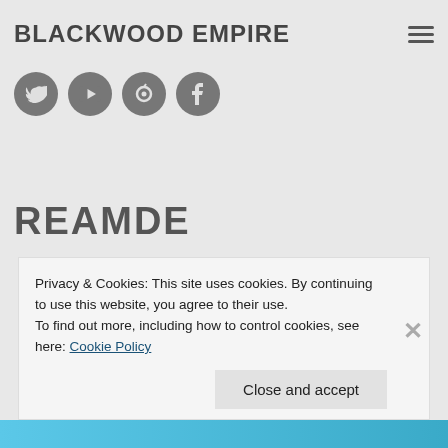BLACKWOOD EMPIRE
[Figure (other): Four circular social media icon buttons (Twitter, YouTube, a third icon, Facebook) on grey circles, arranged horizontally]
REAMDE
Privacy & Cookies: This site uses cookies. By continuing to use this website, you agree to their use.
To find out more, including how to control cookies, see here: Cookie Policy
Close and accept